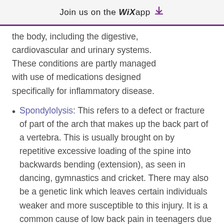Join us on the WiX app ↓
the body, including the digestive, cardiovascular and urinary systems. These conditions are partly managed with use of medications designed specifically for inflammatory disease.
Spondylolysis: This refers to a defect or fracture of part of the arch that makes up the back part of a vertebra. This is usually brought on by repetitive excessive loading of the spine into backwards bending (extension), as seen in dancing, gymnastics and cricket. There may also be a genetic link which leaves certain individuals weaker and more susceptible to this injury. It is a common cause of low back pain in teenagers due to increased activity